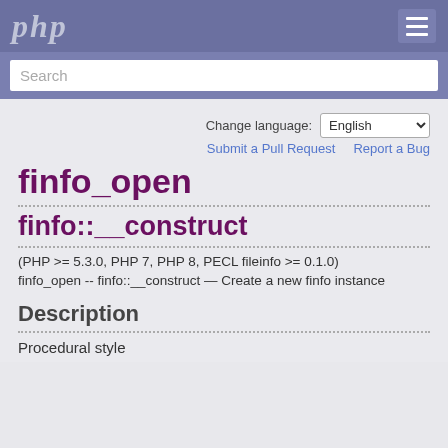php
Search
Change language: English
Submit a Pull Request    Report a Bug
finfo_open
finfo::__construct
(PHP >= 5.3.0, PHP 7, PHP 8, PECL fileinfo >= 0.1.0)
finfo_open -- finfo::__construct — Create a new finfo instance
Description
Procedural style